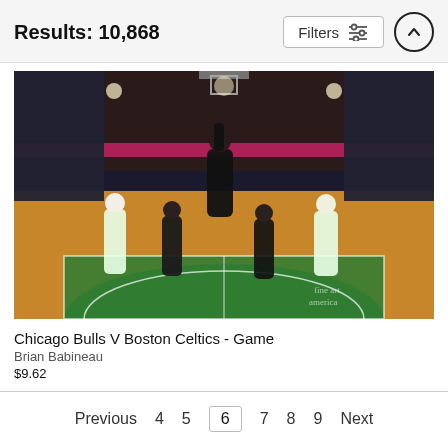Results: 10,868
[Figure (screenshot): Filters button with sliders icon and up-arrow circle button in header bar]
[Figure (photo): Basketball game photo: Chicago Bulls vs Boston Celtics, a Bulls player dunking over Celtics defenders on a green-painted court in a packed arena. Watermark: fine art america]
Chicago Bulls V Boston Celtics - Game
Brian Babineau
$9.62
Previous  4  5  6  7  8  9  Next